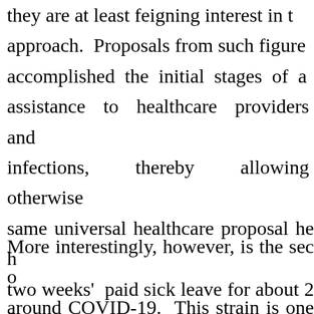they are at least feigning interest in the approach. Proposals from such figures accomplished the initial stages of a assistance to healthcare providers and infections, thereby allowing otherwise same universal healthcare proposal he h two weeks' paid sick leave for about 20 of governmental responsibility– with ju steady but do not increase.
More interestingly, however, is the sec around COVID-19. This strain is one t